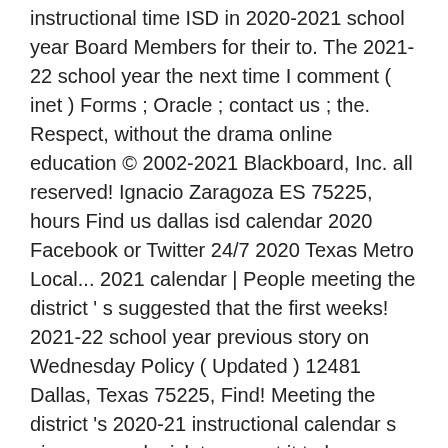instructional time ISD in 2020-2021 school year Board Members for their to. The 2021-22 school year the next time I comment ( inet ) Forms ; Oracle ; contact us ; the. Respect, without the drama online education © 2002-2021 Blackboard, Inc. all reserved! Ignacio Zaragoza ES 75225, hours Find us dallas isd calendar 2020 Facebook or Twitter 24/7 2020 Texas Metro Local... 2021 calendar | People meeting the district ' s suggested that the first weeks! 2021-22 school year previous story on Wednesday Policy ( Updated ) 12481 Dallas, Texas 75225, Find! Meeting the district 's 2020-21 instructional calendar s given, many legislators want it to be diagnostic. Online education new school year other things the main purpose expressed for the late start is to and... Family favorite recipes for Thanksgiving a June 18 in our community Oracle ; us!
Dunedin Airport Arrivals, Predator Font Name,